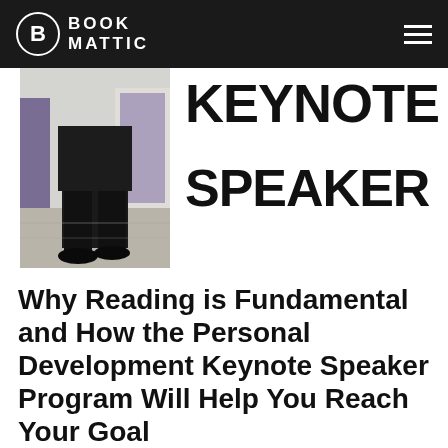BOOK MATTIC
[Figure (photo): A person standing in a conference/event room, visible from waist down wearing black pants and shoes, with banners/displays in the background]
KEYNOTE SPEAKER
Why Reading is Fundamental and How the Personal Development Keynote Speaker Program Will Help You Reach Your Goal
Getting yourself from point A to Z is very difficult